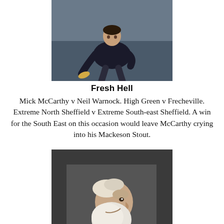[Figure (photo): Photo of a person (likely a football manager) crouching or bending, wearing a dark jacket, outdoors at a football ground]
Fresh Hell
Mick McCarthy v Neil Warnock. High Green v Frecheville. Extreme North Sheffield v Extreme South-east Sheffield. A win for the South East on this occasion would leave McCarthy crying into his Mackeson Stout.
[Figure (photo): Black and white portrait photograph of an elderly bearded man in profile, resembling Charles Darwin]
Darwinism In Action
Sheffield Wednesday 3-0 Charlton Athletic. One of these teams is 6th, the other is 23rd. And one (or two?) of our contestants is very happy they didn't endure a ‘Where’s Russell?’ 360-mile round trip to see this game.